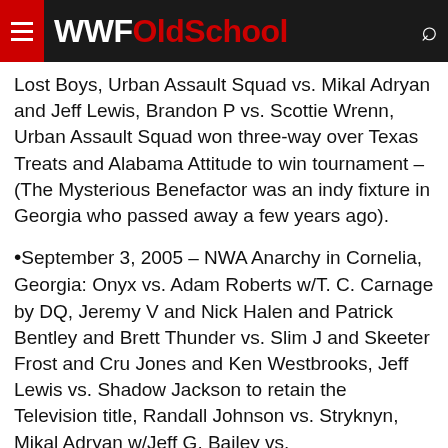WWFOldSchool
Lost Boys, Urban Assault Squad vs. Mikal Adryan and Jeff Lewis, Brandon P vs. Scottie Wrenn, Urban Assault Squad won three-way over Texas Treats and Alabama Attitude to win tournament – (The Mysterious Benefactor was an indy fixture in Georgia who passed away a few years ago).
September 3, 2005 – NWA Anarchy in Cornelia, Georgia: Onyx vs. Adam Roberts w/T. C. Carnage by DQ, Jeremy V and Nick Halen and Patrick Bentley and Brett Thunder vs. Slim J and Skeeter Frost and Cru Jones and Ken Westbrooks, Jeff Lewis vs. Shadow Jackson to retain the Television title, Randall Johnson vs. Stryknyn, Mikal Adryan w/Jeff G. Bailey vs.